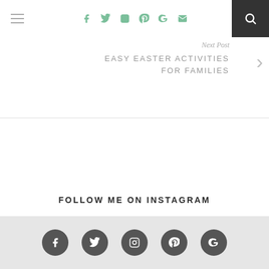Navigation bar with social icons: Facebook, Twitter, Instagram, Pinterest, Google+, Email, and Search
Next Post
EASY EASTER ACTIVITIES FOR FAMILIES
FOLLOW ME ON INSTAGRAM
No images found!
Try some other hashtag or username
Footer with social icons: Facebook, Twitter, Instagram, Pinterest, Google+